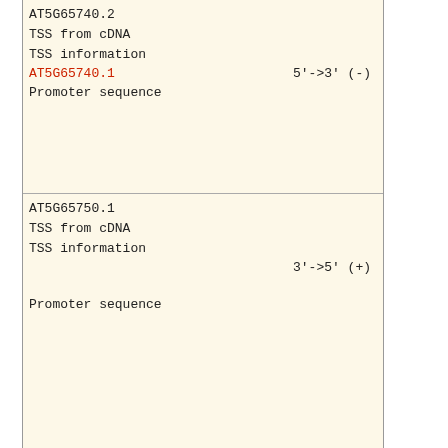AT5G65740.2
TSS from cDNA
TSS information
AT5G65740.1   5'->3' (-)
Promoter sequence
AT5G65750.1
TSS from cDNA
TSS information
3'->5' (+)
Promoter sequence
TSS tag distribution(+)
TSS tag distribution(-)